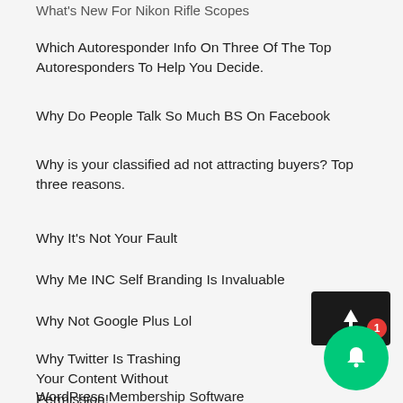What's New For Nikon Rifle Scopes
Which Autoresponder Info On Three Of The Top Autoresponders To Help You Decide.
Why Do People Talk So Much BS On Facebook
Why is your classified ad not attracting buyers? Top three reasons.
Why It's Not Your Fault
Why Me INC Self Branding Is Invaluable
Why Not Google Plus Lol
Why Twitter Is Trashing Your Content Without Permission!
WordPress Membership Software